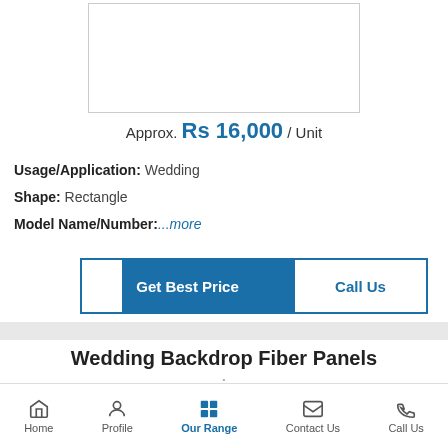[Figure (photo): Product image placeholder (white box with border)]
Approx. Rs 16,000 / Unit
Usage/Application: Wedding
Shape: Rectangle
Model Name/Number: ...more
Get Best Price
Call Us
Wedding Backdrop Fiber Panels
Approx. Rs 9,000 / Unit
Usage/Application: Wedding
Home | Profile | Our Range | Contact Us | Call Us